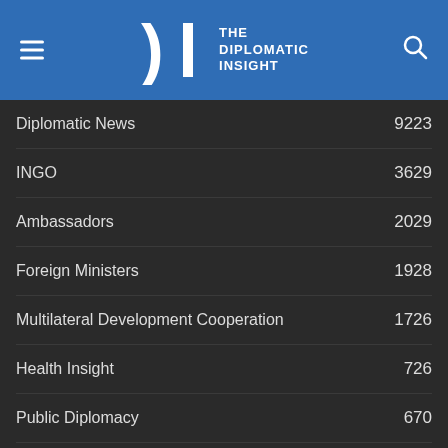THE DIPLOMATIC INSIGHT
Diplomatic News  9223
INGO  3629
Ambassadors  2029
Foreign Ministers  1928
Multilateral Development Cooperation  1726
Health Insight  726
Public Diplomacy  670
Strategic & Military Insight  652
[Figure (screenshot): Fanatics advertisement banner: EXCLUSIVE BONUS EARN 4X FanCash on NFL Hoodies with SHOP NOW button]